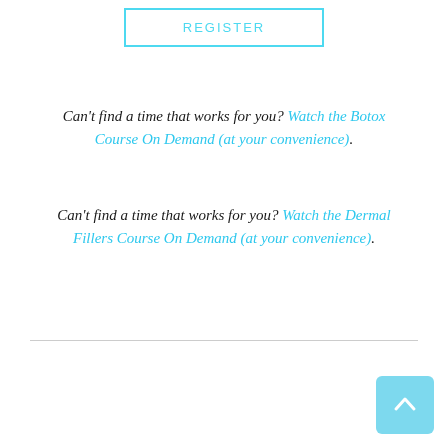REGISTER
Can’t find a time that works for you? Watch the Botox Course On Demand (at your convenience).
Can’t find a time that works for you? Watch the Dermal Fillers Course On Demand (at your convenience).